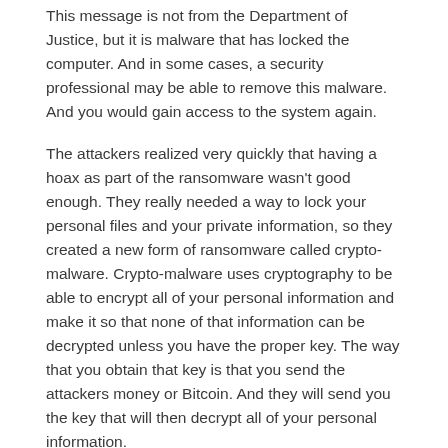This message is not from the Department of Justice, but it is malware that has locked the computer. And in some cases, a security professional may be able to remove this malware. And you would gain access to the system again.
The attackers realized very quickly that having a hoax as part of the ransomware wasn't good enough. They really needed a way to lock your personal files and your private information, so they created a new form of ransomware called crypto-malware. Crypto-malware uses cryptography to be able to encrypt all of your personal information and make it so that none of that information can be decrypted unless you have the proper key. The way that you obtain that key is that you send the attackers money or Bitcoin. And they will send you the key that will then decrypt all of your personal information.
This is the infection screen shown with WannaCry, which tells you that your files have been encrypted. It explains what happened to your computer, how you can recover your files, and most importantly for the attacker, how you pay to get the key to decrypt all of your personal information.